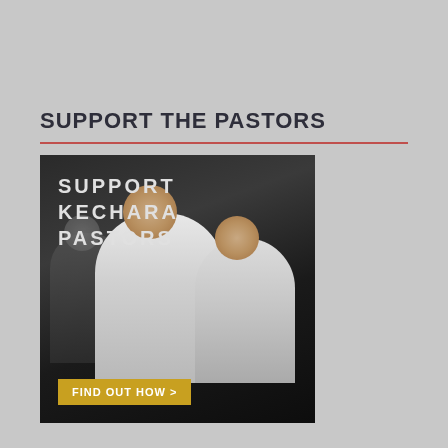SUPPORT THE PASTORS
[Figure (photo): Promotional banner image showing young people in white shirts praying or in contemplation, with overlay text reading 'SUPPORT KECHARA PASTORS' and a gold button 'FIND OUT HOW >']